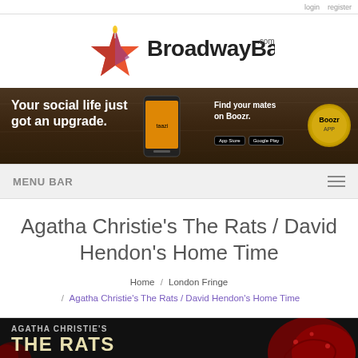[Figure (logo): BroadwayBaby.com logo with orange/red star and candle flame]
[Figure (infographic): Boozr app advertisement banner: 'Your social life just got an upgrade. Find your mates on Boozr.' with phone image and app store buttons]
MENU BAR
Agatha Christie's The Rats / David Hendon's Home Time
Home / London Fringe / Agatha Christie's The Rats / David Hendon's Home Time
[Figure (photo): Bottom portion of Agatha Christie's The Rats show poster on dark background with red decorative element on right]